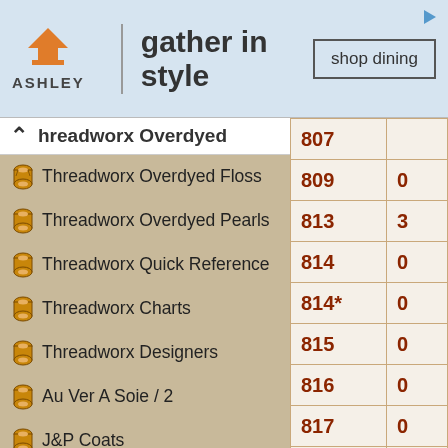[Figure (screenshot): Ashley Furniture advertisement banner: Ashley logo with house icon, tagline 'gather in style', and 'shop dining' button]
Threadworx Overdyed
Threadworx Overdyed Floss
Threadworx Overdyed Pearls
Threadworx Quick Reference
Threadworx Charts
Threadworx Designers
Au Ver A Soie / 2
J&P Coats
Dinky Dyes Silk/ Perle 600
Dinky Dyes Perle 1000/ P1900
The Gentle Art Sampler / 2 / 3
The Gentle Art Simply Shaker
The Gentle Art Simply Wool
| Code | Value |
| --- | --- |
| 807 |  |
| 809 | 0 |
| 813 | 3 |
| 814 | 0 |
| 814* | 0 |
| 815 | 0 |
| 816 | 0 |
| 817 | 0 |
| 818* | 0 |
| 819 | 0 |
| 820 | 3 |
| 822 | 3 |